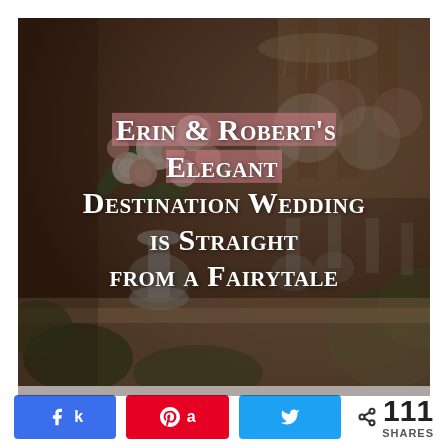[Figure (photo): Wedding reception table with elegant tall floral centerpieces featuring white and pink roses with greenery in glass vases, set against a bokeh background of more floral arrangements and rustic wooden structure. Overlaid with article title text.]
Erin & Robert's Elegant Destination Wedding is Straight from a Fairytale
k  a  y  < 111 SHARES